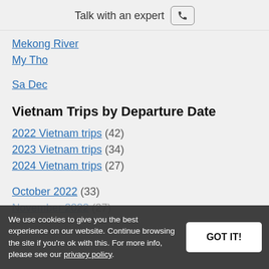Talk with an expert
Mekong River
My Tho
Sa Dec
Vietnam Trips by Departure Date
2022 Vietnam trips (42)
2023 Vietnam trips (34)
2024 Vietnam trips (27)
October 2022 (33)
November 2022 (27)
We use cookies to give you the best experience on our website. Continue browsing the site if you're ok with this. For more info, please see our privacy policy.